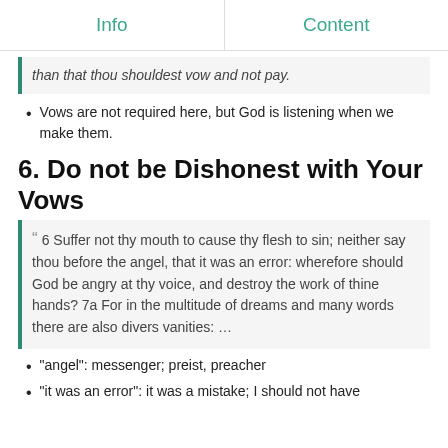Info	Content
than that thou shouldest vow and not pay.
Vows are not required here, but God is listening when we make them.
6. Do not be Dishonest with Your Vows
6 Suffer not thy mouth to cause thy flesh to sin; neither say thou before the angel, that it was an error: wherefore should God be angry at thy voice, and destroy the work of thine hands? 7a For in the multitude of dreams and many words there are also divers vanities: …
"angel": messenger; preist, preacher
"it was an error": it was a mistake; I should not have